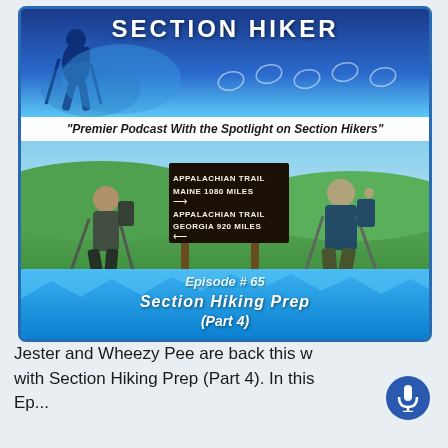[Figure (infographic): Section Hiker podcast cover art for Episode 65: Section Hiking Prep (Part 4), showing two hikers posing at an Appalachian Trail sign post indicating Maine 1080 Miles and Georgia 920 Miles.]
SECTION HIKER
"Premier Podcast With the Spotlight on Section Hikers"
APPALACHIAN TRAIL MAINE 1080 MILES → APPALACHIAN TRAIL GEORGIA 920 MILES ←
Episode # 65
Section Hiking Prep (Part 4)
Jester and Wheezy Pee are back this w with Section Hiking Prep (Part 4). In this Ep...